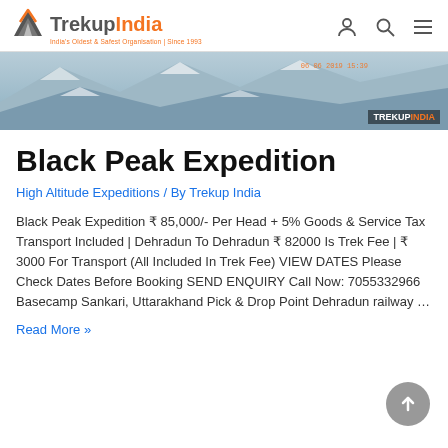TrekupIndia — India's Oldest & Safest Organisation | Since 1993
[Figure (photo): Snow mountain landscape hero image with TrekupIndia watermark and timestamp 06 06 2019 15:39]
Black Peak Expedition
High Altitude Expeditions / By Trekup India
Black Peak Expedition ₹ 85,000/- Per Head + 5% Goods & Service Tax Transport Included | Dehradun To Dehradun ₹ 82000 Is Trek Fee | ₹ 3000 For Transport (All Included In Trek Fee) VIEW DATES Please Check Dates Before Booking SEND ENQUIRY Call Now: 7055332966 Basecamp Sankari, Uttarakhand Pick & Drop Point Dehradun railway …
Read More »